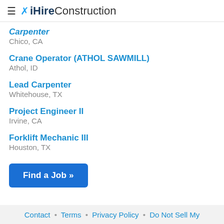iHireConstruction
Carpenter
Chico, CA
Crane Operator (ATHOL SAWMILL)
Athol, ID
Lead Carpenter
Whitehouse, TX
Project Engineer II
Irvine, CA
Forklift Mechanic III
Houston, TX
Find a Job »
Contact • Terms • Privacy Policy • Do Not Sell My